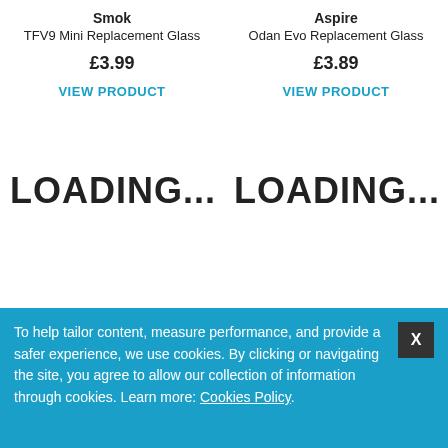Smok
TFV9 Mini Replacement Glass
£3.99
VIEW PRODUCT
Aspire
Odan Evo Replacement Glass
£3.89
VIEW PRODUCT
LOADING...
LOADING...
To help tailor content, measure performance, and provide a safer experience, we use cookies. By clicking or navigating the site, you agree to allow our collection of information through cookies. Learn more: Cookies Policy.